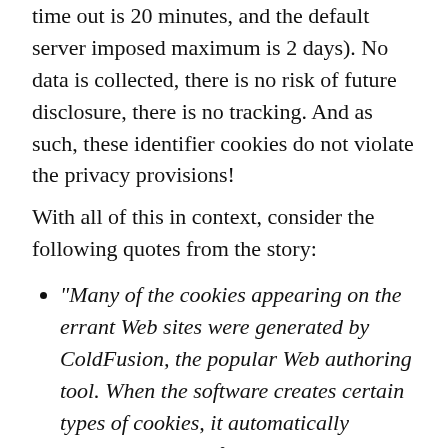time out is 20 minutes, and the default server imposed maximum is 2 days). No data is collected, there is no risk of future disclosure, there is no tracking. And as such, these identifier cookies do not violate the privacy provisions!
With all of this in context, consider the following quotes from the story:
“Many of the cookies appearing on the errant Web sites were generated by ColdFusion, the popular Web authoring tool. When the software creates certain types of cookies, it automatically assigns them a default persistent setting.” The only cookies that persist by default are the identifier cookies, which store no data and do no tracking.
“Many agencies appeared to have no inkling that their Web sites were configured to record the